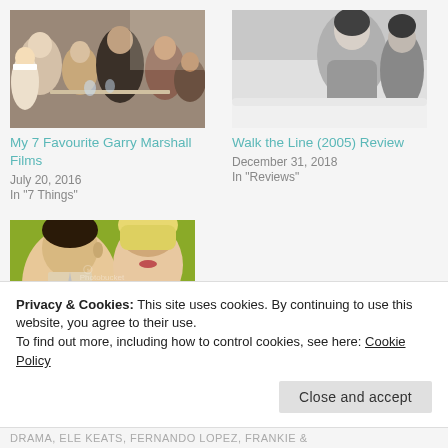[Figure (photo): Group of people at a social gathering, film still from a Garry Marshall movie]
My 7 Favourite Garry Marshall Films
July 20, 2016
In "7 Things"
[Figure (photo): Black and white photo of a woman, likely from Walk the Line (2005)]
Walk the Line (2005) Review
December 31, 2018
In "Reviews"
[Figure (photo): Movie poster for It Happened One Night featuring Clark Gable and Claudette Colbert, text: Together for the first time!, Clark Gable, Claudette Colbert]
It Happened One Night
(1934) Review...
Privacy & Cookies: This site uses cookies. By continuing to use this website, you agree to their use.
To find out more, including how to control cookies, see here: Cookie Policy
Close and accept
DRAMA, ELE KEATS, FERNANDO LOPEZ, FRANKIE &